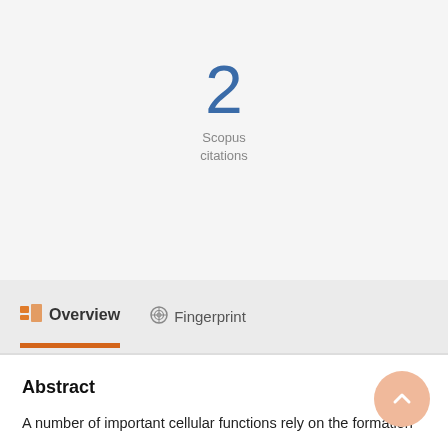2
Scopus
citations
Overview
Fingerprint
Abstract
A number of important cellular functions rely on the formation